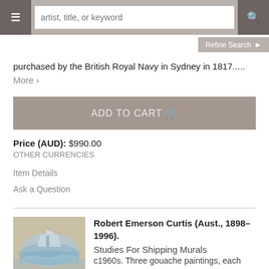artist, title, or keyword
Refine Search
purchased by the British Royal Navy in Sydney in 1817..... More
ADD TO CART
Price (AUD): $990.00
OTHER CURRENCIES
Item Details
Ask a Question
Robert Emerson Curtis (Aust., 1898–1996). Studies For Shipping Murals
c1960s. Three gouache paintings, each